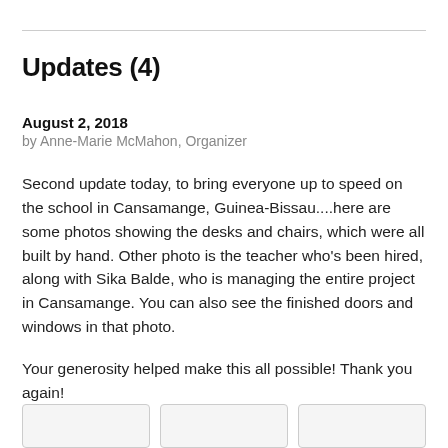Updates (4)
August 2, 2018
by Anne-Marie McMahon, Organizer
Second update today, to bring everyone up to speed on the school in Cansamange, Guinea-Bissau....here are some photos showing the desks and chairs, which were all built by hand. Other photo is the teacher who's been hired, along with Sika Balde, who is managing the entire project in Cansamange. You can also see the finished doors and windows in that photo.
Your generosity helped make this all possible! Thank you again!
[Figure (photo): Three partially visible thumbnail images at the bottom of the page]